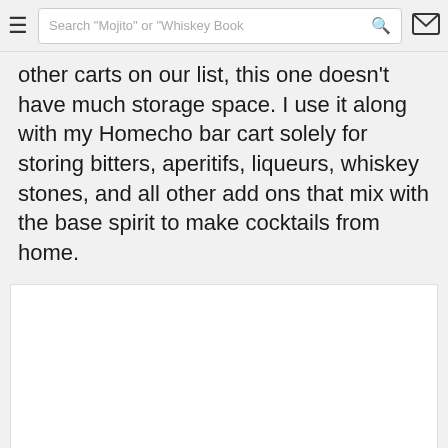Search "Mojito" or "Whiskey Book"
other carts on our list, this one doesn't have much storage space. I use it along with my Homecho bar cart solely for storing bitters, aperitifs, liqueurs, whiskey stones, and all other add ons that mix with the base spirit to make cocktails from home.
[Figure (photo): White/light gray image area placeholder, no visible content]